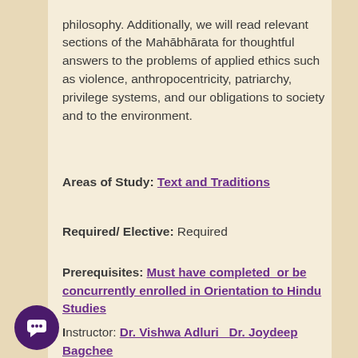philosophy. Additionally, we will read relevant sections of the Mahābhārata for thoughtful answers to the problems of applied ethics such as violence, anthropocentricity, patriarchy, privilege systems, and our obligations to society and to the environment.
Areas of Study: Text and Traditions
Required/ Elective: Required
Prerequisites: Must have completed or be concurrently enrolled in Orientation to Hindu Studies
Instructor: Dr. Vishwa Adluri  Dr. Joydeep Bagchee